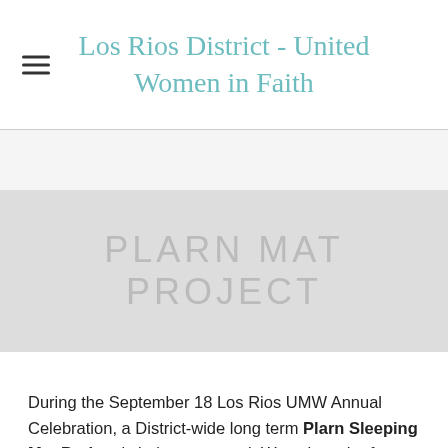Los Rios District - United Women in Faith
PLARN MAT PROJECT
During the September 18 Los Rios UMW Annual Celebration, a District-wide long term Plarn Sleeping Mat Project is being proposed. We ask each of you to read over the proposal and watch the YouTube video